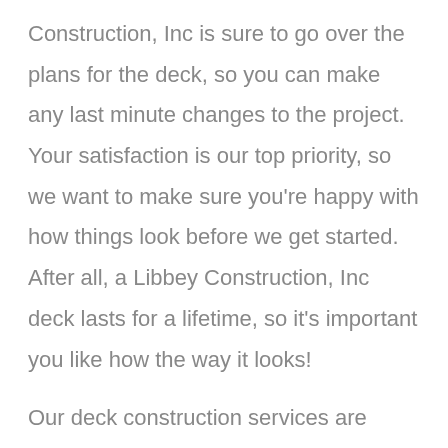Construction, Inc is sure to go over the plans for the deck, so you can make any last minute changes to the project. Your satisfaction is our top priority, so we want to make sure you're happy with how things look before we get started. After all, a Libbey Construction, Inc deck lasts for a lifetime, so it's important you like how the way it looks!
Our deck construction services are backed by our quality assurance guarantee, so if you aren't entirely satisfied with your new deck, Libbey